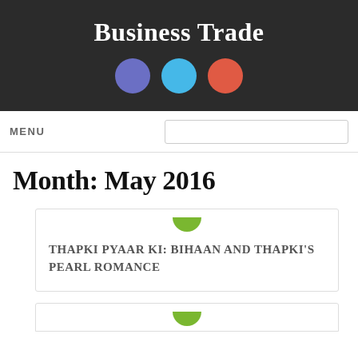Business Trade
[Figure (illustration): Three social media circles: purple (Facebook), cyan (Twitter), red (Google+)]
MENU
Month: May 2016
THAPKI PYAAR KI: BIHAAN AND THAPKI'S PEARL ROMANCE